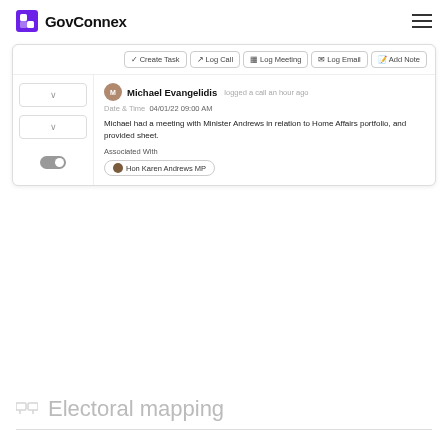GovConnex
[Figure (screenshot): GovConnex CRM interface showing an activity log entry by Michael Evangelidis, with toolbar buttons: Create Task, Log Call, Log Meeting, Log Email, Add Note. The activity entry shows Date & Time: 04/01/22 09:00 AM, text 'Michael had a meeting with Minister Andrews in relation to Home Affairs portfolio, and provided sheet.' Associated With: Hon Karen Andrews MP]
Electoral mapping